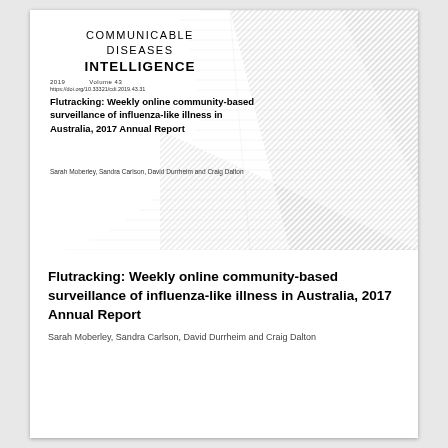[Figure (illustration): Journal cover image for Communicable Diseases Intelligence 2019 Volume 43, featuring decorative diagonal stripe/wave pattern in grayscale on the right side, with journal header, article title, and author names overlaid on the left.]
Flutracking: Weekly online community-based surveillance of influenza-like illness in Australia, 2017 Annual Report
Sarah Moberley, Sandra Carlson, David Durrheim and Craig Dalton